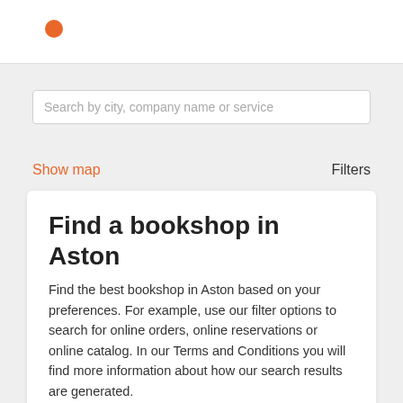[Figure (logo): Orange dot logo in top left of white header bar]
Search by city, company name or service
Show map
Filters
Find a bookshop in Aston
Find the best bookshop in Aston based on your preferences. For example, use our filter options to search for online orders, online reservations or online catalog. In our Terms and Conditions you will find more information about how our search results are generated.
Add your company
It's free